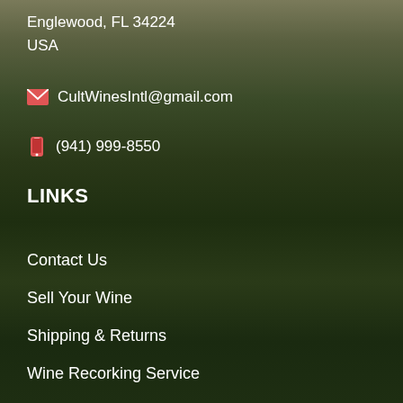Englewood, FL 34224
USA
CultWinesIntl@gmail.com
(941) 999-8550
LINKS
Contact Us
Sell Your Wine
Shipping & Returns
Wine Recorking Service
About Us